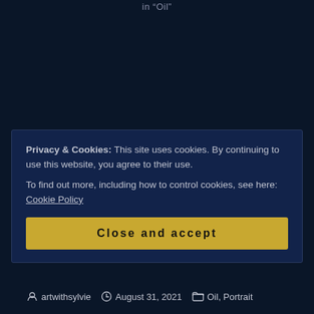in "Oil"
Captured Moments with artist Chan Dissanayake
September 12, 2020
In "You Tube"
artwithsylvie   August 31, 2021   Oil, Portrait
Privacy & Cookies: This site uses cookies. By continuing to use this website, you agree to their use.
To find out more, including how to control cookies, see here: Cookie Policy
Close and accept